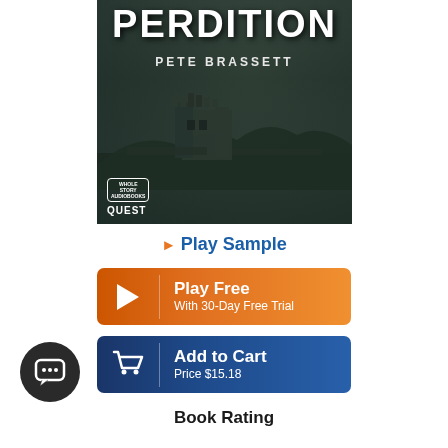[Figure (illustration): Book cover for 'Perdition' by Pete Brassett. Dark atmospheric cover showing a Scottish castle on water under moody grey-green skies. Title 'PERDITION' in large white bold letters at top, author name 'PETE BRASSETT' below. Whole Story Audiobooks / Quest logo in bottom left corner.]
▶ Play Sample
[Figure (other): Orange 'Play Free / With 30-Day Free Trial' button with play triangle icon on left and text on right]
[Figure (other): Dark blue 'Add to Cart / Price $15.18' button with shopping cart icon on left and text on right]
Book Rating
[Figure (other): Dark circular chat/support bubble icon in bottom left corner]